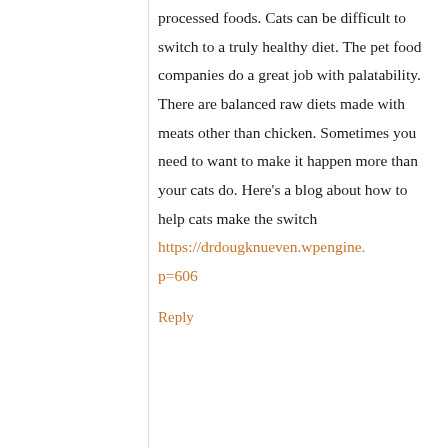processed foods. Cats can be difficult to switch to a truly healthy diet. The pet food companies do a great job with palatability. There are balanced raw diets made with meats other than chicken. Sometimes you need to want to make it happen more than your cats do. Here's a blog about how to help cats make the switch https://drdougknueven.wpengine.p=606
Reply